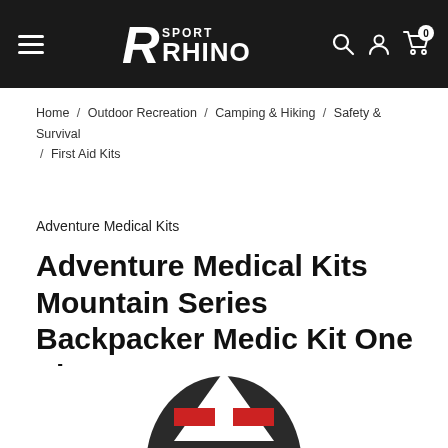Sport Rhino – navigation header with hamburger menu, logo, search, account, and cart icons
Home / Outdoor Recreation / Camping & Hiking / Safety & Survival / First Aid Kits
Adventure Medical Kits
Adventure Medical Kits Mountain Series Backpacker Medic Kit One Size
[Figure (photo): Partial top view of the Adventure Medical Kits Mountain Series Backpacker Medic Kit product packaging, showing the top portion of a red and white mountain/cross logo on a dark background]